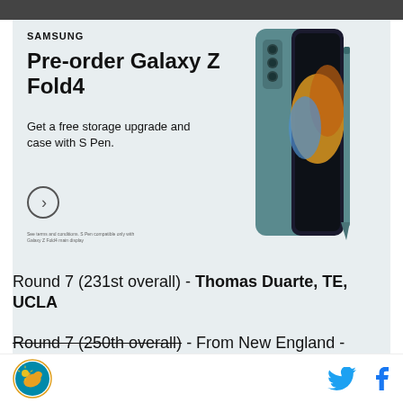[Figure (photo): Partial dark background image at top of page]
[Figure (screenshot): Samsung Galaxy Z Fold4 advertisement. Headline: Pre-order Galaxy Z Fold4. Get a free storage upgrade and case with S Pen. Shows an image of the phone with S Pen. Powered by Concert. Feedback link.]
Round 7 (231st overall) - Thomas Duarte, TE, UCLA
Round 7 (250th overall) - From New England - Traded to Cleveland Browns for pick 223
[Figure (logo): Miami Dolphins circular logo]
[Figure (illustration): Twitter bird icon and Facebook f icon in teal/blue]